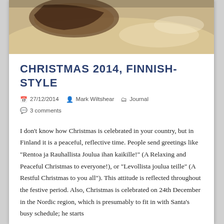[Figure (photo): Partial view of a food dish on a tray, photographed from above on a light-colored surface]
CHRISTMAS 2014, FINNISH-STYLE
27/12/2014   Mark Wiltshear   Journal   3 comments
I don't know how Christmas is celebrated in your country, but in Finland it is a peaceful, reflective time. People send greetings like “Rentoa ja Rauhallista Joulua ihan kaikille!” (A Relaxing and Peaceful Christmas to everyone!), or “Levollista joulua teille” (A Restful Christmas to you all”). This attitude is reflected throughout the festive period. Also, Christmas is celebrated on 24th December in the Nordic region, which is presumably to fit in with Santa’s busy schedule; he starts